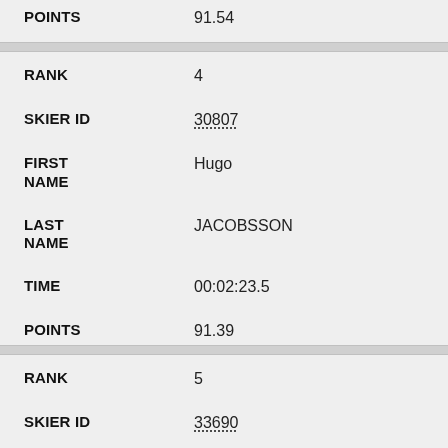| Field | Value |
| --- | --- |
| POINTS | 91.54 |
| RANK | 4 |
| SKIER ID | 30807 |
| FIRST NAME | Hugo |
| LAST NAME | JACOBSSON |
| TIME | 00:02:23.5 |
| POINTS | 91.39 |
| RANK | 5 |
| SKIER ID | 33690 |
| FIRST NAME | Adam |